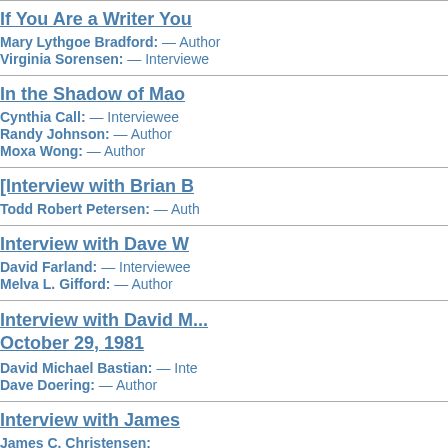If You Are a Writer You...
Mary Lythgoe Bradford: — Author
Virginia Sorensen: — Interviewee
In the Shadow of Mao...
Cynthia Call: — Interviewee
Randy Johnson: — Author
Moxa Wong: — Author
[Interview with Brian B...]
Todd Robert Petersen: — Author
Interview with Dave W...
David Farland: — Interviewee
Melva L. Gifford: — Author
Interview with David M... October 29, 1981
David Michael Bastian: — Interviewee
Dave Doering: — Author
Interview with James...
James C. Christensen: — Interviewee